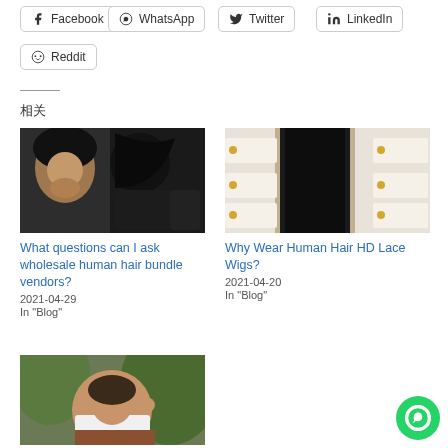Facebook
WhatsApp
Twitter
LinkedIn
Reddit
相关
[Figure (photo): Woman with curly hair and curly hair bundle samples]
What questions can I ask wholesale human hair bundle vendors?
2021-04-29
In "Blog"
[Figure (photo): Woman with straight hair showing hair product features]
Why Wear Human Hair HD Lace Wigs?
2021-04-20
In "Blog"
[Figure (photo): Woman in white top posing outdoors]